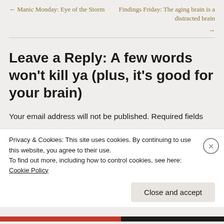← Manic Monday: Eye of the Storm
Findings Friday: The aging brain is a distracted brain →
Leave a Reply: A few words won't kill ya (plus, it's good for your brain)
Your email address will not be published. Required fields
Privacy & Cookies: This site uses cookies. By continuing to use this website, you agree to their use.
To find out more, including how to control cookies, see here: Cookie Policy
Close and accept